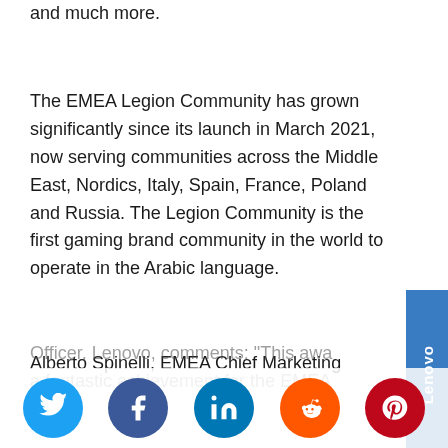and much more.
The EMEA Legion Community has grown significantly since its launch in March 2021, now serving communities across the Middle East, Nordics, Italy, Spain, France, Poland and Russia. The Legion Community is the first gaming brand community in the world to operate in the Arabic language.
Alberto Spinelli, EMEA Chief Marketing Officer, Lenovo, comments: "This award a fantastic achievement for the EMEA